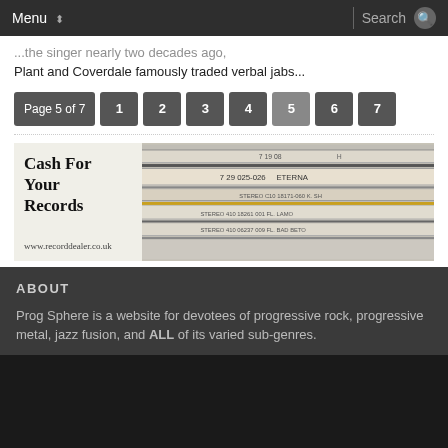Menu  Search
Plant and Coverdale famously traded verbal jabs...
Page 5 of 7  1  2  3  4  5  6  7
[Figure (photo): Advertisement banner for www.recorddealer.co.uk with text 'Cash For Your Records' and a photo of stacked vinyl records with labels including ETERNA 7 29 025-026]
ABOUT
Prog Sphere is a website for devotees of progressive rock, progressive metal, jazz fusion, and ALL of its varied sub-genres.